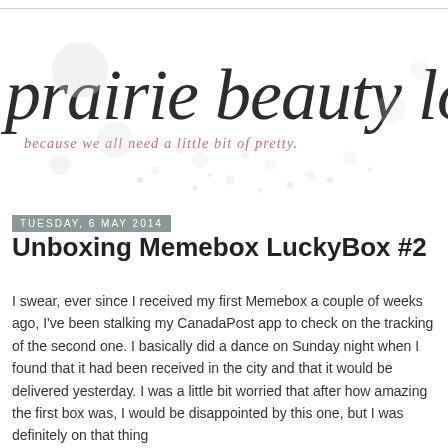[Figure (logo): Prairie Beauty Love blog logo — large cursive/script text reading 'prairie beauty love' in dark charcoal, with tagline 'because we all need a little bit of pretty.' in pink/rose italic below, and decorative dot pattern in background]
Tuesday, 6 May 2014
Unboxing Memebox LuckyBox #2
I swear, ever since I received my first Memebox a couple of weeks ago, I've been stalking my CanadaPost app to check on the tracking of the second one. I basically did a dance on Sunday night when I found that it had been received in the city and that it would be delivered yesterday. I was a little bit worried that after how amazing the first box was, I would be disappointed by this one, but I was definitely on that thing